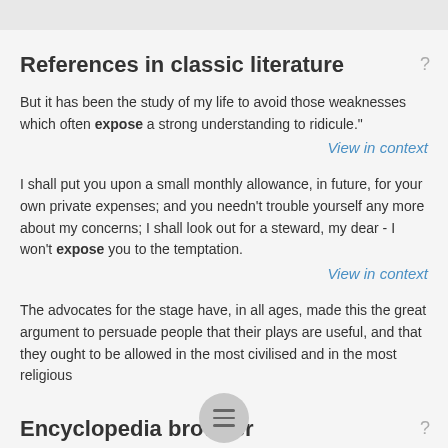References in classic literature
But it has been the study of my life to avoid those weaknesses which often expose a strong understanding to ridicule."
View in context
I shall put you upon a small monthly allowance, in future, for your own private expenses; and you needn't trouble yourself any more about my concerns; I shall look out for a steward, my dear - I won't expose you to the temptation.
View in context
The advocates for the stage have, in all ages, made this the great argument to persuade people that their plays are useful, and that they ought to be allowed in the most civilised and in the most religious
Encyclopedia browser
export kerosine
Export Premiums